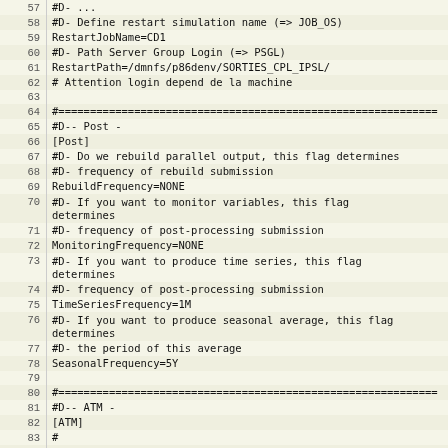| line | code |
| --- | --- |
| 57 | #D- ... |
| 58 | #D- Define restart simulation name (=> JOB_OS) |
| 59 | RestartJobName=CD1 |
| 60 | #D- Path Server Group Login (=> PSGL) |
| 61 | RestartPath=/dmnfs/p86denv/SORTIES_CPL_IPSL/ |
| 62 | # Attention login depend de la machine |
| 63 |  |
| 64 | #============================================================ |
| 65 | #D-- Post - |
| 66 | [Post] |
| 67 | #D- Do we rebuild parallel output, this flag determines |
| 68 | #D- frequency of rebuild submission |
| 69 | RebuildFrequency=NONE |
| 70 | #D- If you want to monitor variables, this flag determines |
| 71 | #D- frequency of post-processing submission |
| 72 | MonitoringFrequency=NONE |
| 73 | #D- If you want to produce time series, this flag determines |
| 74 | #D- frequency of post-processing submission |
| 75 | TimeSeriesFrequency=1M |
| 76 | #D- If you want to produce seasonal average, this flag determines |
| 77 | #D- the period of this average |
| 78 | SeasonalFrequency=5Y |
| 79 |  |
| 80 | #============================================================ |
| 81 | #D-- ATM - |
| 82 | [ATM] |
| 83 | # |
| 84 | WriteFrequency="1M 1D HF" |
| 85 | # If config_Restarts_OverRule == 'n' all params are read |
| 86 | Restart= n |